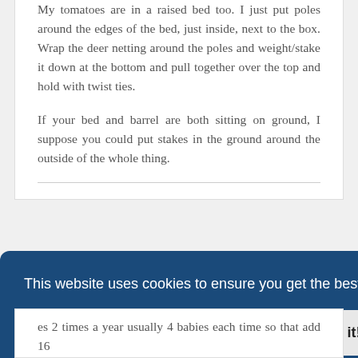My tomatoes are in a raised bed too. I just put poles around the edges of the bed, just inside, next to the box. Wrap the deer netting around the poles and weight/stake it down at the bottom and pull together over the top and hold with twist ties.
If your bed and barrel are both sitting on ground, I suppose you could put stakes in the ground around the outside of the whole thing.
This website uses cookies to ensure you get the best experience on our website. Learn more
Got it!
es 2 times a year usually 4 babies each time so that add 16